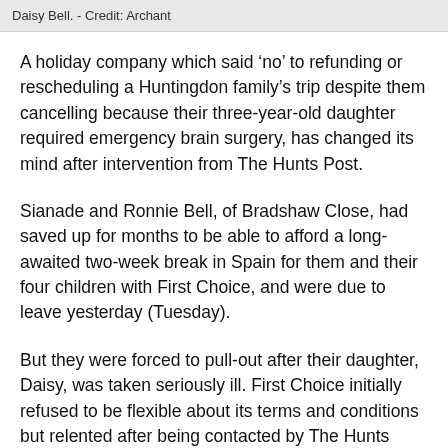Daisy Bell. - Credit: Archant
A holiday company which said ‘no’ to refunding or rescheduling a Huntingdon family’s trip despite them cancelling because their three-year-old daughter required emergency brain surgery, has changed its mind after intervention from The Hunts Post.
Sianade and Ronnie Bell, of Bradshaw Close, had saved up for months to be able to afford a long-awaited two-week break in Spain for them and their four children with First Choice, and were due to leave yesterday (Tuesday).
But they were forced to pull-out after their daughter, Daisy, was taken seriously ill. First Choice initially refused to be flexible about its terms and conditions but relented after being contacted by The Hunts Post.